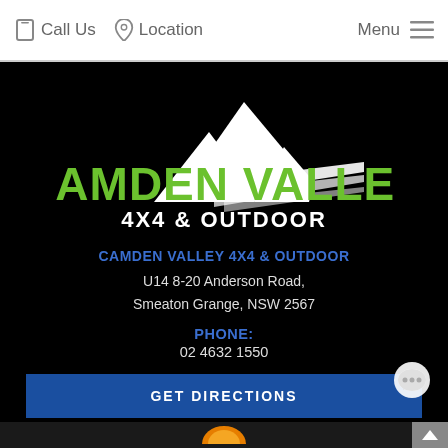Call Us   Location   Menu
[Figure (logo): Camden Valley 4x4 & Outdoor logo with green text and white mountain/speed stripe graphics on black background]
CAMDEN VALLEY 4X4 & OUTDOOR
U14 8-20 Anderson Road, Smeaton Grange, NSW 2567
PHONE: 02 4632 1550
GET DIRECTIONS
[Figure (logo): Partial tiger mascot logo visible at bottom of page]